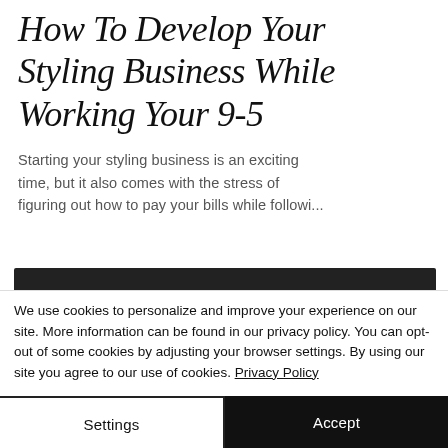How To Develop Your Styling Business While Working Your 9-5
Starting your styling business is an exciting time, but it also comes with the stress of figuring out how to pay your bills while followi...
[Figure (other): Dark rectangular image/banner placeholder]
We use cookies to personalize and improve your experience on our site. More information can be found in our privacy policy. You can opt-out of some cookies by adjusting your browser settings. By using our site you agree to our use of cookies. Privacy Policy
Settings
Accept